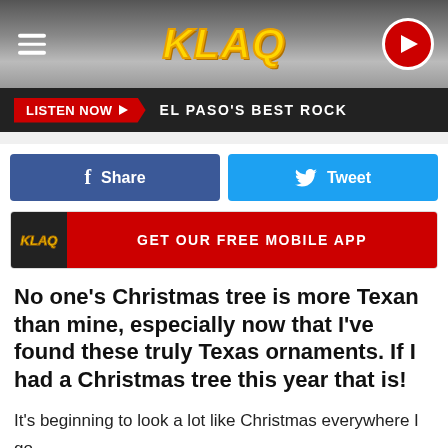KLAQ - EL PASO'S BEST ROCK
[Figure (logo): KLAQ radio station logo in yellow/gold italic font on grey gradient background with hamburger menu icon on left and red circular play button on right]
LISTEN NOW ▶  EL PASO'S BEST ROCK
f Share    Tweet
GET OUR FREE MOBILE APP
No one's Christmas tree is more Texan than mine, especially now that I've found these truly Texas ornaments. If I had a Christmas tree this year that is!
It's beginning to look a lot like Christmas everywhere I go, especially because I have some of the most overly motiva[redacted]in the state.